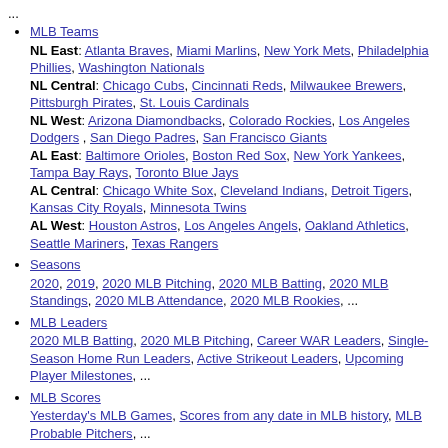...
MLB Teams
NL East: Atlanta Braves, Miami Marlins, New York Mets, Philadelphia Phillies, Washington Nationals
NL Central: Chicago Cubs, Cincinnati Reds, Milwaukee Brewers, Pittsburgh Pirates, St. Louis Cardinals
NL West: Arizona Diamondbacks, Colorado Rockies, Los Angeles Dodgers , San Diego Padres, San Francisco Giants
AL East: Baltimore Orioles, Boston Red Sox, New York Yankees, Tampa Bay Rays, Toronto Blue Jays
AL Central: Chicago White Sox, Cleveland Indians, Detroit Tigers, Kansas City Royals, Minnesota Twins
AL West: Houston Astros, Los Angeles Angels, Oakland Athletics, Seattle Mariners, Texas Rangers
Seasons
2020, 2019, 2020 MLB Pitching, 2020 MLB Batting, 2020 MLB Standings, 2020 MLB Attendance, 2020 MLB Rookies, ...
MLB Leaders
2020 MLB Batting, 2020 MLB Pitching, Career WAR Leaders, Single-Season Home Run Leaders, Active Strikeout Leaders, Upcoming Player Milestones, ...
MLB Scores
Yesterday's MLB Games, Scores from any date in MLB history, MLB Probable Pitchers, ...